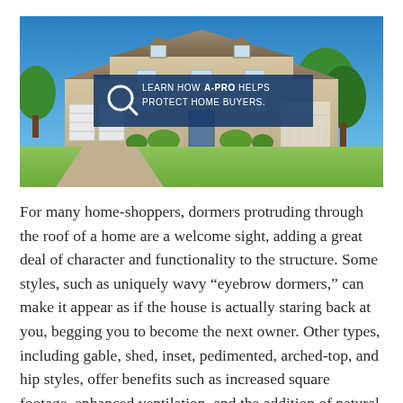[Figure (photo): Photograph of a large two-story suburban house with multiple roof dormers, a three-car garage, manicured landscaping, blue sky background. Overlaid with a dark blue banner reading 'LEARN HOW A-PRO HELPS PROTECT HOME BUYERS.' with a magnifying glass icon.]
For many home-shoppers, dormers protruding through the roof of a home are a welcome sight, adding a great deal of character and functionality to the structure. Some styles, such as uniquely wavy “eyebrow dormers,” can make it appear as if the house is actually staring back at you, begging you to become the next owner. Other types, including gable, shed, inset, pedimented, arched-top, and hip styles, offer benefits such as increased square footage, enhanced ventilation, and the addition of natural light